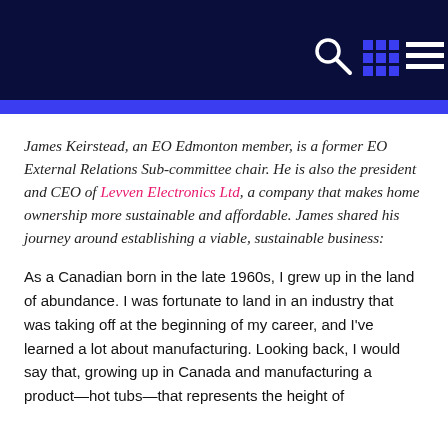[Figure (other): Dark navy header bar with search icon, grid icon, and hamburger menu icon on the right side, followed by a bright blue accent stripe]
James Keirstead, an EO Edmonton member, is a former EO External Relations Sub-committee chair. He is also the president and CEO of Levven Electronics Ltd, a company that makes home ownership more sustainable and affordable. James shared his journey around establishing a viable, sustainable business:
As a Canadian born in the late 1960s, I grew up in the land of abundance. I was fortunate to land in an industry that was taking off at the beginning of my career, and I've learned a lot about manufacturing. Looking back, I would say that, growing up in Canada and manufacturing a product—hot tubs—that represents the height of